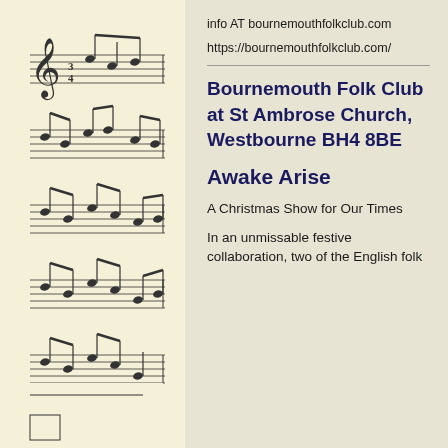[Figure (illustration): Vertical strip of musical notation/sheet music with treble clef and notes on staff lines, running the full height of the left side of the page]
info AT bournemouthfolkclub.com
https://bournemouthfolkclub.com/
Bournemouth Folk Club at St Ambrose Church, Westbourne BH4 8BE
Awake Arise
A Christmas Show for Our Times
In an unmissable festive collaboration, two of the English folk